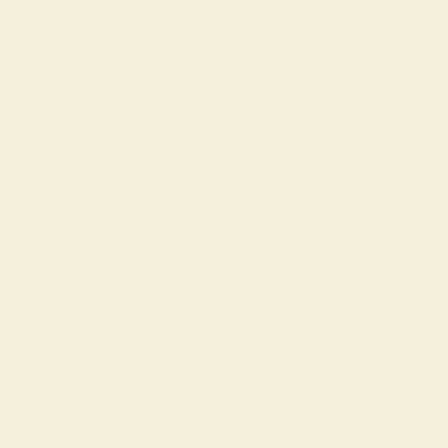src="http://images.maplandia.com/zambia/luapula/kawambwa/kawambwa/waterfalls/lumangwe-falls/lumangwe-falls-336x280.gif" width="336" height="280" border="0" alt="Lumangwe Falls satellite map"/></a>
large Lumangwe Falls satellite map link
[Figure (other): Empty white/cream bordered rectangle representing a map placeholder area]
<iframe width="336" height="280" frameborder="0"